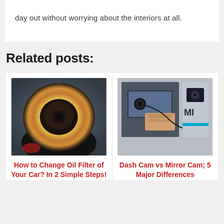day out without worrying about the interiors at all.
Related posts:
[Figure (photo): Close-up top view of a circular oil filter showing its paper filter element and central hole]
How to Change Oil Filter of Your Car? In 2 Simple Steps!
[Figure (photo): Dash cam vs mirror cam comparison image showing a rearview mirror camera being installed]
Dash Cam vs Mirror Cam; 5 Major Differences